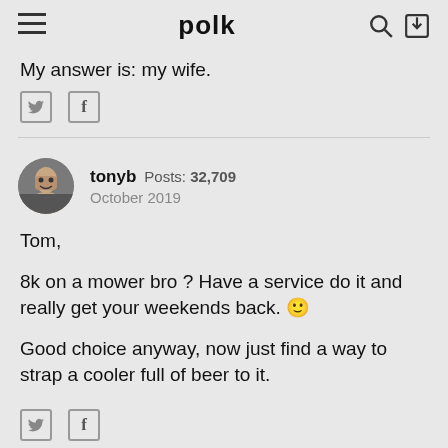polk
My answer is: my wife.
tonyb  Posts: 32,709  October 2019
Tom,

8k on a mower bro ? Have a service do it and really get your weekends back. 🙂

Good choice anyway, now just find a way to strap a cooler full of beer to it.